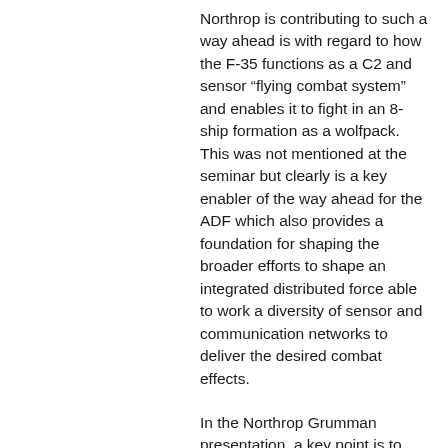Northrop is contributing to such a way ahead is with regard to how the F-35 functions as a C2 and sensor “flying combat system” and enables it to fight in an 8-ship formation as a wolfpack. This was not mentioned at the seminar but clearly is a key enabler of the way ahead for the ADF which also provides a foundation for shaping the broader efforts to shape an integrated distributed force able to work a diversity of sensor and communication networks to deliver the desired combat effects.
In the Northrop Grumman presentation, a key point is to shape a way ahead for battleship